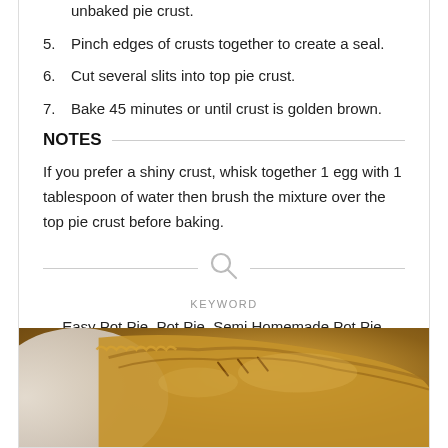unbaked pie crust.
5. Pinch edges of crusts together to create a seal.
6. Cut several slits into top pie crust.
7. Bake 45 minutes or until crust is golden brown.
NOTES
If you prefer a shiny crust, whisk together 1 egg with 1 tablespoon of water then brush the mixture over the top pie crust before baking.
KEYWORD
Easy Pot Pie, Pot Pie, Semi Homemade Pot Pie, Vegetarian Pot Pie
[Figure (photo): Close-up photo of a golden brown baked pot pie with a flaky crimped pie crust in a white baking dish]